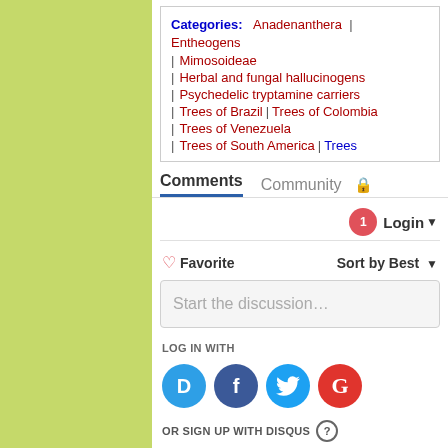Categories: Anadenanthera | Entheogens | Mimosoideae | Herbal and fungal hallucinogens | Psychedelic tryptamine carriers | Trees of Brazil | Trees of Colombia | Trees of Venezuela | Trees of South America | Trees
Comments  Community
Login ▾
♡ Favorite    Sort by Best ▾
Start the discussion…
LOG IN WITH
[Figure (logo): Four social login icons: Disqus (blue circle with D), Facebook (dark blue circle with f), Twitter (light blue circle with bird), Google (red circle with G)]
OR SIGN UP WITH DISQUS ?
Name